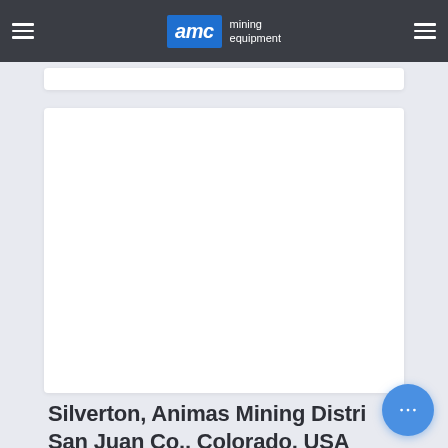AMC mining equipment
[Figure (other): White content card area (partial, top of page)]
[Figure (other): White content card area (main image placeholder)]
Silverton, Animas Mining District, San Juan Co., Colorado, USA